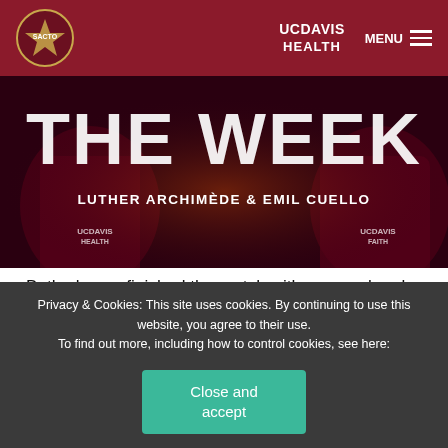Sacramento Republic FC | UC Davis Health | MENU
[Figure (photo): Hero banner photo of two soccer players in Sacramento Republic FC jerseys with UC Davis Health branding, overlaid with large text 'THE WEEK' and subtitle 'LUTHER ARCHIMÈDE & EMIL CUELLO']
Both players finished the match with one goal and one assist. Cuello netted the first of Sacramento's four scores on the night in the 16th minute when he headed through a service from Nick Ross on a corner kick. He later assisted
Privacy & Cookies: This site uses cookies. By continuing to use this website, you agree to their use.
To find out more, including how to control cookies, see here:
Close and accept